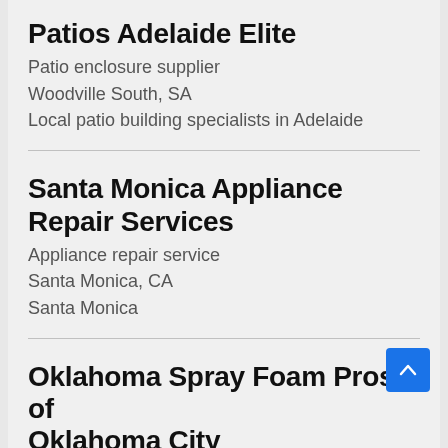Patios Adelaide Elite
Patio enclosure supplier
Woodville South, SA
Local patio building specialists in Adelaide
Santa Monica Appliance Repair Services
Appliance repair service
Santa Monica, CA
Santa Monica
Oklahoma Spray Foam Pros of Oklahoma City